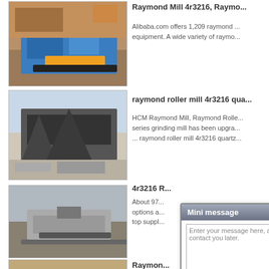[Figure (photo): Mining/crushing equipment (blue mobile jaw crusher) on rocky ground]
Raymond Mill 4r3216, Raymo...
Alibaba.com offers 1,209 raymond ... equipment. A wide variety of raymo...
[Figure (photo): Large conveyor/screening plant machine outdoors]
raymond roller mill 4r3216 qua...
HCM Raymond Mill, Raymond Rolle... series grinding mill has been upgra... ... raymond roller mill 4r3216 quartz...
[Figure (photo): Road milling/paving machine on construction site]
4r3216 R...
About 97... options a... top suppl...
[Figure (photo): Construction/mining site with machinery]
Raymon...
[Figure (screenshot): Mini message popup dialog with textarea, Your Email, Your Phone fields and Email Us / Send buttons]